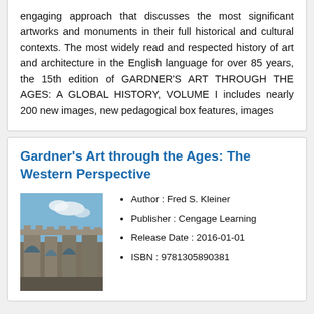engaging approach that discusses the most significant artworks and monuments in their full historical and cultural contexts. The most widely read and respected history of art and architecture in the English language for over 85 years, the 15th edition of GARDNER'S ART THROUGH THE AGES: A GLOBAL HISTORY, VOLUME I includes nearly 200 new images, new pedagogical box features, images
Gardner's Art through the Ages: The Western Perspective
[Figure (photo): Photo of a stone aqueduct or arch bridge with multiple arches, stone masonry, against a blue sky with clouds]
Author : Fred S. Kleiner
Publisher : Cengage Learning
Release Date : 2016-01-01
ISBN : 9781305890381